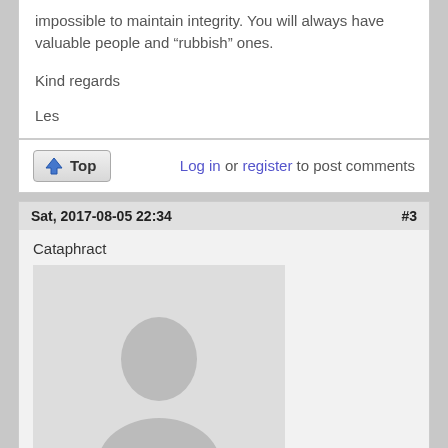impossible to maintain integrity. You will always have valuable people and “rubbish” ones.
Kind regards
Les
Log in or register to post comments
Sat, 2017-08-05 22:34   #3
Cataphract
[Figure (photo): Default user avatar placeholder silhouette]
Name dropping "Loyoto Machida". :-)
You have to make it work for you and train the way you want to use it. The shortest path to solid no nonsense self defense skills is still boxing in my opinion. But that's just not everyone's cup of tea.